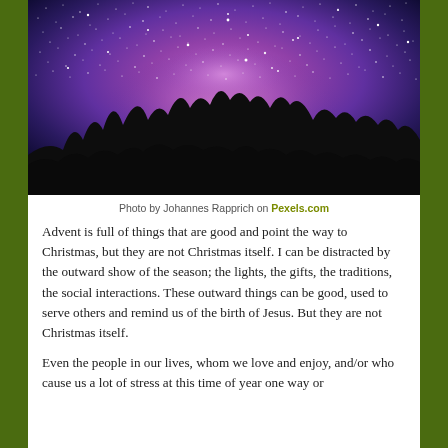[Figure (photo): Night sky photograph showing the Milky Way galaxy with purple and pink hues, with dark silhouetted trees visible at the bottom of the image.]
Photo by Johannes Rapprich on Pexels.com
Advent is full of things that are good and point the way to Christmas, but they are not Christmas itself. I can be distracted by the outward show of the season; the lights, the gifts, the traditions, the social interactions. These outward things can be good, used to serve others and remind us of the birth of Jesus. But they are not Christmas itself.
Even the people in our lives, whom we love and enjoy, and/or who cause us a lot of stress at this time of year one way or